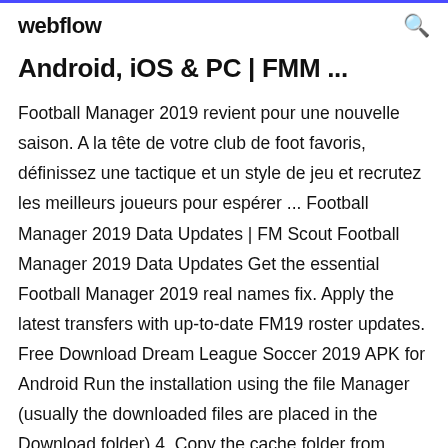webflow
Android, iOS & PC | FMM ...
Football Manager 2019 revient pour une nouvelle saison. A la tête de votre club de foot favoris, définissez une tactique et un style de jeu et recrutez les meilleurs joueurs pour espérer ... Football Manager 2019 Data Updates | FM Scout Football Manager 2019 Data Updates Get the essential Football Manager 2019 real names fix. Apply the latest transfers with up-to-date FM19 roster updates. Free Download Dream League Soccer 2019 APK for Android Run the installation using the file Manager (usually the downloaded files are placed in the Download folder) 4. Copy the cache folder from